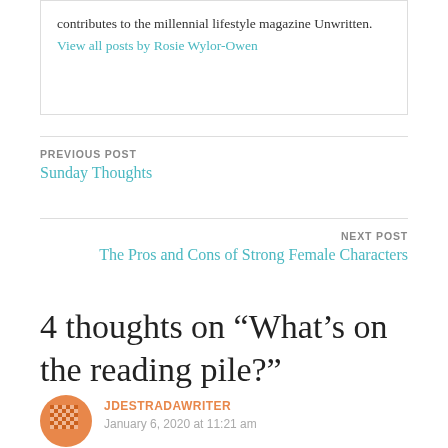contributes to the millennial lifestyle magazine Unwritten. View all posts by Rosie Wylor-Owen
PREVIOUS POST
Sunday Thoughts
NEXT POST
The Pros and Cons of Strong Female Characters
4 thoughts on “What’s on the reading pile?”
JDESTRADAWRITER
January 6, 2020 at 11:21 am